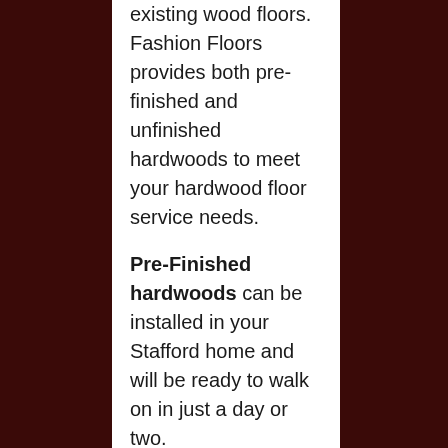existing wood floors. Fashion Floors provides both pre-finished and unfinished hardwoods to meet your hardwood floor service needs.
Pre-Finished hardwoods can be installed in your Stafford home and will be ready to walk on in just a day or two.
Unfinished hardwood floors are sanded on the job and can be customized with borders and medallions. Hardwood floors are very resilient and maintain a rich...